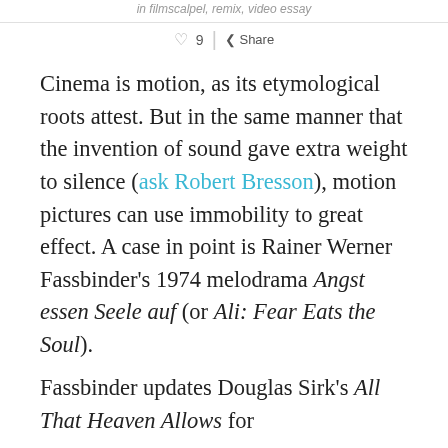in filmscalpel, remix, video essay
♡ 9  |  < Share
Cinema is motion, as its etymological roots attest. But in the same manner that the invention of sound gave extra weight to silence (ask Robert Bresson), motion pictures can use immobility to great effect. A case in point is Rainer Werner Fassbinder's 1974 melodrama Angst essen Seele auf (or Ali: Fear Eats the Soul).
Fassbinder updates Douglas Sirk's All That Heaven Allows for